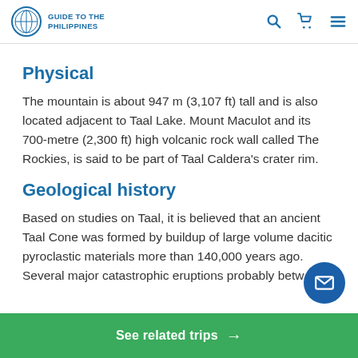Guide to the Philippines
Physical
The mountain is about 947 m (3,107 ft) tall and is also located adjacent to Taal Lake. Mount Maculot and its 700-metre (2,300 ft) high volcanic rock wall called The Rockies, is said to be part of Taal Caldera's crater rim.
Geological history
Based on studies on Taal, it is believed that an ancient Taal Cone was formed by buildup of large volume dacitic pyroclastic materials more than 140,000 years ago. Several major catastrophic eruptions probably betwe...
See related trips →